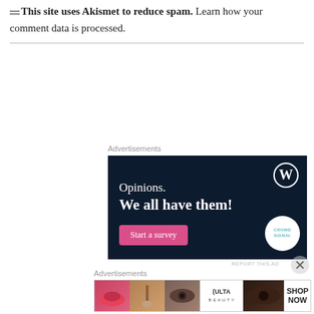This site uses Akismet to reduce spam. Learn how your comment data is processed.
Advertisements
[Figure (illustration): Dark navy blue advertisement banner for CrowdSignal/WordPress. Shows WordPress logo (W in circle) top right. Text reads 'Opinions. We all have them!' with a pink 'Start a survey' button bottom left and CrowdSignal circular logo bottom right.]
Advertisements
[Figure (illustration): ULTA Beauty advertisement banner showing makeup images: lips with lipstick, makeup brush, eye with mascara, ULTA Beauty logo, eye with makeup, and 'SHOP NOW' text.]